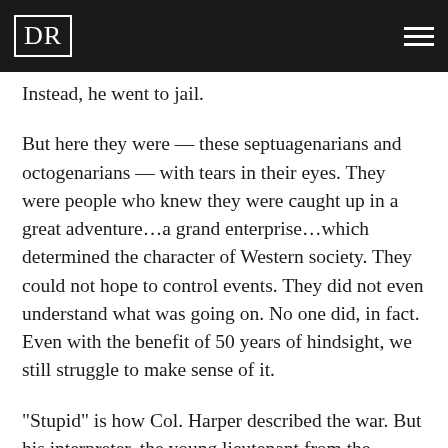DR
Instead, he went to jail.
But here they were — these septuagenarians and octogenarians — with tears in their eyes. They were people who knew they were caught up in a great adventure...a grand enterprise...which determined the character of Western society. They could not hope to control events. They did not even understand what was going on. No one did, in fact. Even with the benefit of 50 years of hindsight, we still struggle to make sense of it.
“Stupid” is how Col. Harper described the war. But his interpreter, the young lieutenant from the American Embassy, left the word out in his translation.